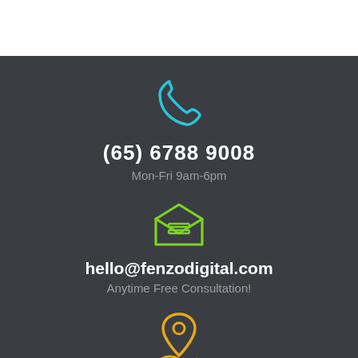[Figure (illustration): Cyan phone handset icon]
(65) 6788 9008
Mon-Fri 9am-6pm
[Figure (illustration): Green open envelope with letter icon]
hello@fenzodigital.com
Anytime Free Consultation!
[Figure (illustration): Yellow map pin / location icon]